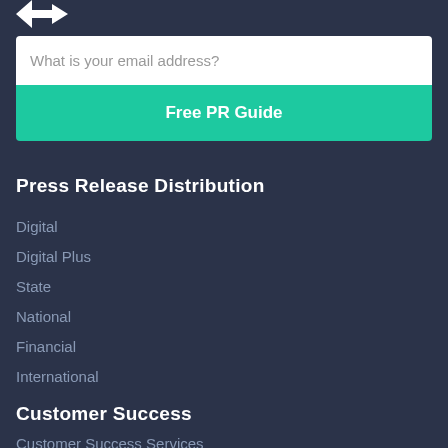[Figure (logo): White logo icon in top left corner]
What is your email address?
Free PR Guide
Press Release Distribution
Digital
Digital Plus
State
National
Financial
International
Customer Success
Customer Success Services